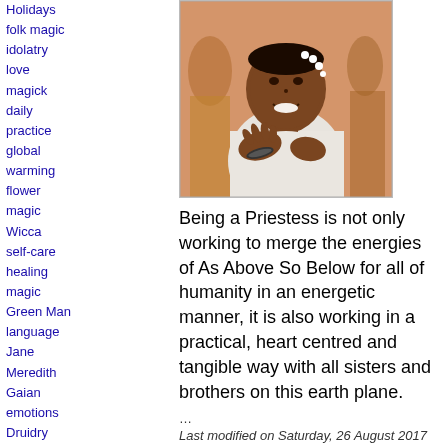Holidays
folk magic
idolatry
love
magick
daily practice
global warming
flower magic
Wicca
self-care
healing magic
Green Man
language
Jane Meredith
Gaian emotions
Druidry
nature
Ocean marvel
Goddess
Travel
herbs
asatru
Bull Stone
ancient egypt
choosing quartz crystal
crystal healing
[Figure (photo): A smiling woman with a flower garland in her hair, wearing white, with hands clasped to her chest. People visible in background.]
Being a Priestess is not only working to merge the energies of As Above So Below for all of humanity in an energetic manner, it is also working in a practical, heart centred and tangible way with all sisters and brothers on this earth plane.
...
Last modified on Saturday, 26 August 2017
0 Comments   Continue reading
Tweet